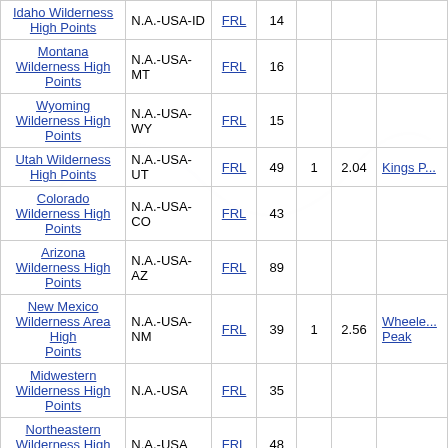| List | Region | FRL | # |  |  |  |
| --- | --- | --- | --- | --- | --- | --- |
| Idaho Wilderness High Points | N.A.-USA-ID | FRL | 14 |  |  |  |
| Montana Wilderness High Points | N.A.-USA-MT | FRL | 16 |  |  |  |
| Wyoming Wilderness High Points | N.A.-USA-WY | FRL | 15 |  |  |  |
| Utah Wilderness High Points | N.A.-USA-UT | FRL | 49 | 1 | 2.04 | Kings P... |
| Colorado Wilderness High Points | N.A.-USA-CO | FRL | 43 |  |  |  |
| Arizona Wilderness High Points | N.A.-USA-AZ | FRL | 89 |  |  |  |
| New Mexico Wilderness Area High Points | N.A.-USA-NM | FRL | 39 | 1 | 2.56 | Wheeler Peak |
| Midwestern Wilderness High Points | N.A.-USA | FRL | 35 |  |  |  |
| Northeastern Wilderness High Points | N.A.-USA | FRL | 48 |  |  |  |
| Southeastern Wilderness High Points | N.A.-USA | FRL | 64 |  |  |  |
| South-Central Wilderness High Points | N.A.-USA | FRL | 38 | 1 | 2.63 | Guadal... Peak |
| Europe Land High Point Lists |  |  |  |  |  |  |
| Ireland National Park High Points | Europe-Ireland | FRL | 6 |  |  |  |
| United Kingdom |  |  |  |  |  |  |